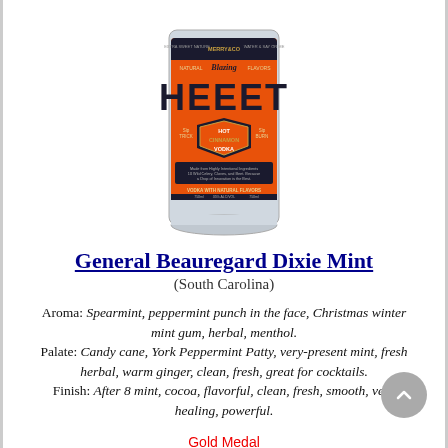[Figure (photo): Product bottle labeled 'HEEET Hot Cinnamon Vodka' with orange and dark blue label design]
General Beauregard Dixie Mint
(South Carolina)
Aroma: Spearmint, peppermint punch in the face, Christmas winter mint gum, herbal, menthol. Palate: Candy cane, York Peppermint Patty, very-present mint, fresh herbal, warm ginger, clean, fresh, great for cocktails. Finish: After 8 mint, cocoa, flavorful, clean, fresh, smooth, very healing, powerful.
Gold Medal
[Figure (illustration): Gold medal with red and blue ribbon]